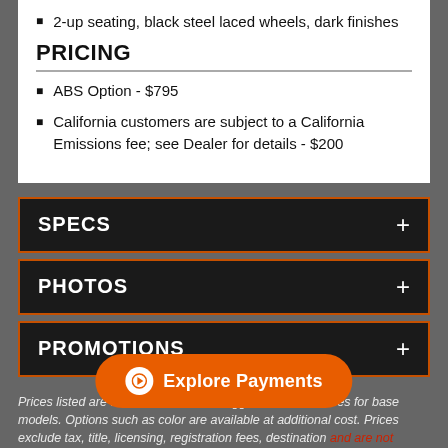2-up seating, black steel laced wheels, dark finishes
PRICING
ABS Option - $795
California customers are subject to a California Emissions fee; see Dealer for details - $200
SPECS
PHOTOS
PROMOTIONS
Prices listed are the Manufacturer's Suggested Retail Prices for base models. Options such as color are available at additional cost. Prices exclude tax, title, licensing, registration fees, destination and are not applicable to raw materials costs included in the price, added accessories, and additional dealer charges, if any, and are